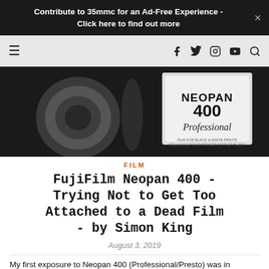Contribute to 35mmc for an Ad-Free Experience - Click here to find out more
[Figure (photo): Black and white photo of a Fujifilm Neopan 400 Professional film canister]
FILM
FujiFilm Neopan 400 - Trying Not to Get Too Attached to a Dead Film - by Simon King
August 3, 2019
My first exposure to Neopan 400 (Professional/Presto) was in